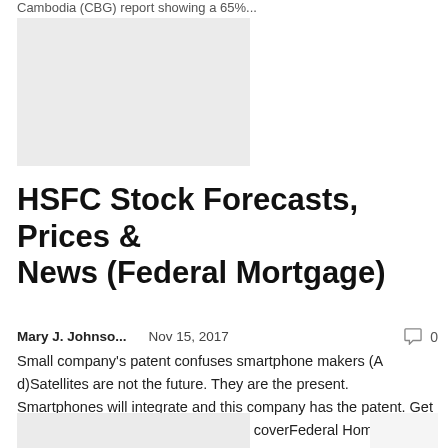Cambodia (CBG) report showing a 65%...
[Figure (photo): Placeholder image, light gray rectangle]
HSFC Stock Forecasts, Prices & News (Federal Mortgage)
Mary J. Johnso...   Nov 15, 2017   0
Small company's patent confuses smartphone makers (A d)Satellites are not the future. They are the present. Smartphones will integrate and this company has the patent. Get information. The mainstream will not coverFederal Home Loan...
[Figure (photo): Placeholder image, light gray rectangle bottom]
[Figure (photo): Placeholder image, small right side bottom]